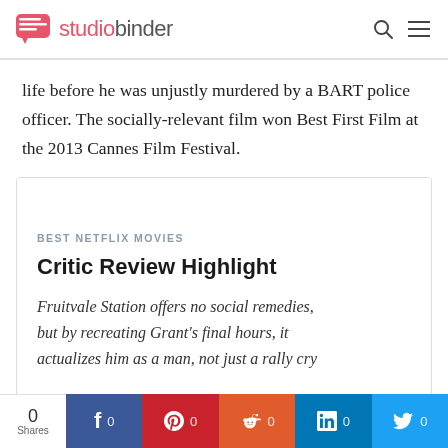studiobinder
life before he was unjustly murdered by a BART police officer. The socially-relevant film won Best First Film at the 2013 Cannes Film Festival.
BEST NETFLIX MOVIES
Critic Review Highlight
Fruitvale Station offers no social remedies, but by recreating Grant's final hours, it actualizes him as a man, not just a rally cry
0 Shares  f 0  p 0  reddit 0  in 0  twitter 0